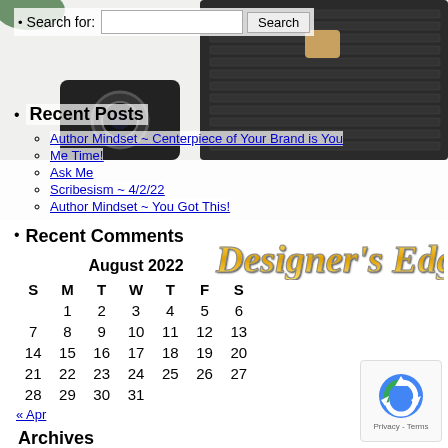[Figure (photo): Background photo showing a desk with laptop keyboard, camera, globe, scissors, and stationery items]
Search for: [search box] Search
Recent Posts
Author Mindset ~ Centerpiece of Your Brand is You
Me Time!
Ask Me
Scribesism ~ 4/2/22
Author Mindset ~ You Got This!
Recent Comments
[Figure (logo): Designer's Edge logo text in gold italic cursive font]
| S | M | T | W | T | F | S |
| --- | --- | --- | --- | --- | --- | --- |
|  | 1 | 2 | 3 | 4 | 5 | 6 |
| 7 | 8 | 9 | 10 | 11 | 12 | 13 |
| 14 | 15 | 16 | 17 | 18 | 19 | 20 |
| 21 | 22 | 23 | 24 | 25 | 26 | 27 |
| 28 | 29 | 30 | 31 |  |  |  |
« Apr
Archives